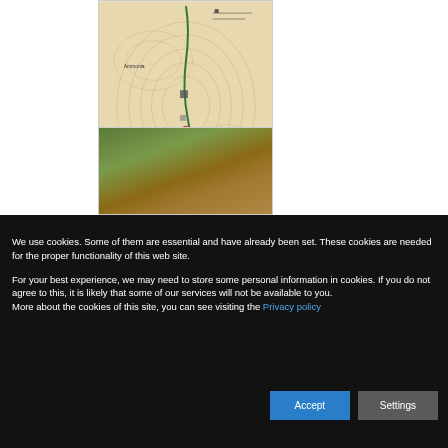[Figure (map): Topographic trail map with contour lines, green trail route, and labeled landmarks including Kapnisi]
[Figure (photo): Outdoor hillside photograph showing green scrubland and rocky terrain on a slope]
We use cookies. Some of them are essential and have already been set. These cookies are needed for the proper functionality of this web site.
For your best experience, we may need to store some personal information in cookies. If you do not agree to this, it is likely that some of our services will not be available to you.
More about the cookies of this site, you can see visiting the Privacy policy